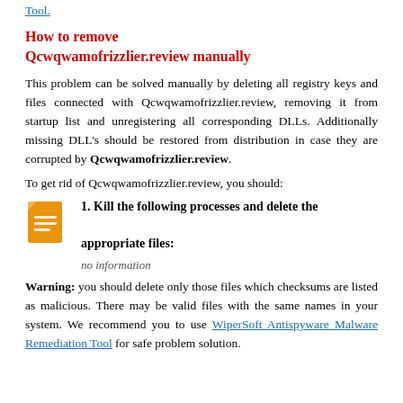Tool.
How to remove Qcwqwamofrizzlier.review manually
This problem can be solved manually by deleting all registry keys and files connected with Qcwqwamofrizzlier.review, removing it from startup list and unregistering all corresponding DLLs. Additionally missing DLL's should be restored from distribution in case they are corrupted by Qcwqwamofrizzlier.review.
To get rid of Qcwqwamofrizzlier.review, you should:
1. Kill the following processes and delete the appropriate files:
no information
Warning: you should delete only those files which checksums are listed as malicious. There may be valid files with the same names in your system. We recommend you to use WiperSoft Antispyware Malware Remediation Tool for safe problem solution.